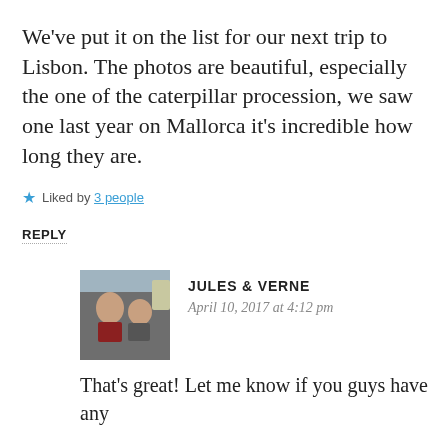We've put it on the list for our next trip to Lisbon. The photos are beautiful, especially the one of the caterpillar procession, we saw one last year on Mallorca it's incredible how long they are.
★ Liked by 3 people
REPLY
[Figure (photo): Avatar photo of Jules & Verne showing two people in a vehicle]
JULES & VERNE
April 10, 2017 at 4:12 pm
That's great! Let me know if you guys have any